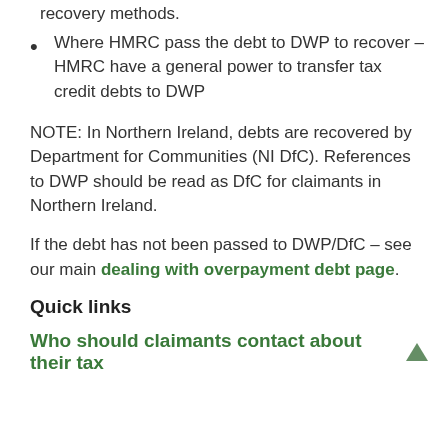recovery methods.
Where HMRC pass the debt to DWP to recover – HMRC have a general power to transfer tax credit debts to DWP
NOTE: In Northern Ireland, debts are recovered by Department for Communities (NI DfC). References to DWP should be read as DfC for claimants in Northern Ireland.
If the debt has not been passed to DWP/DfC – see our main dealing with overpayment debt page.
Quick links
Who should claimants contact about their tax